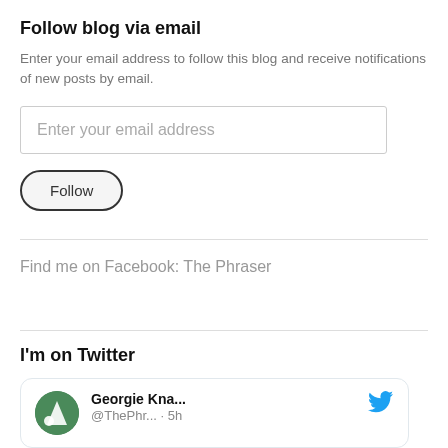Follow blog via email
Enter your email address to follow this blog and receive notifications of new posts by email.
[Figure (screenshot): Email input field with placeholder text 'Enter your email address']
[Figure (screenshot): Follow button with rounded border]
Find me on Facebook: The Phraser
I'm on Twitter
[Figure (screenshot): Twitter card showing user Georgie Kna... @ThePhr... · 5h with green avatar containing letter P and Twitter bird icon]